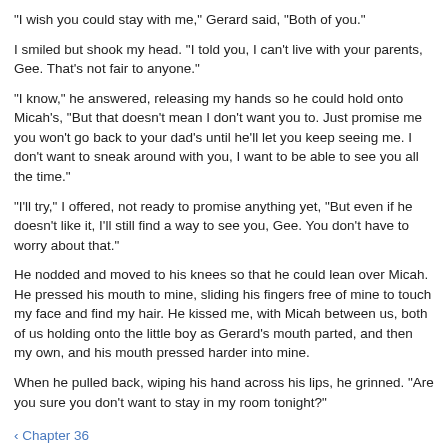“I wish you could stay with me,” Gerard said, “Both of you.”
I smiled but shook my head. “I told you, I can’t live with your parents, Gee. That’s not fair to anyone.”
“I know,” he answered, releasing my hands so he could hold onto Micah’s, “But that doesn’t mean I don’t want you to. Just promise me you won’t go back to your dad’s until he’ll let you keep seeing me. I don’t want to sneak around with you, I want to be able to see you all the time.”
“I’ll try,” I offered, not ready to promise anything yet, “But even if he doesn’t like it, I’ll still find a way to see you, Gee. You don’t have to worry about that.”
He nodded and moved to his knees so that he could lean over Micah. He pressed his mouth to mine, sliding his fingers free of mine to touch my face and find my hair. He kissed me, with Micah between us, both of us holding onto the little boy as Gerard’s mouth parted, and then my own, and his mouth pressed harder into mine.
When he pulled back, wiping his hand across his lips, he grinned. “Are you sure you don’t want to stay in my room tonight?”
‹ Chapter 36